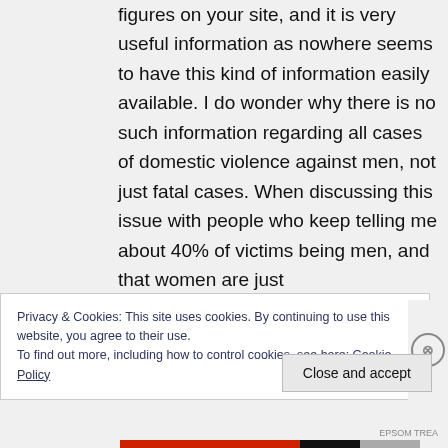figures on your site, and it is very useful information as nowhere seems to have this kind of information easily available. I do wonder why there is no such information regarding all cases of domestic violence against men, not just fatal cases. When discussing this issue with people who keep telling me about 40% of victims being men, and that women are just
Privacy & Cookies: This site uses cookies. By continuing to use this website, you agree to their use.
To find out more, including how to control cookies, see here: Cookie Policy
Close and accept